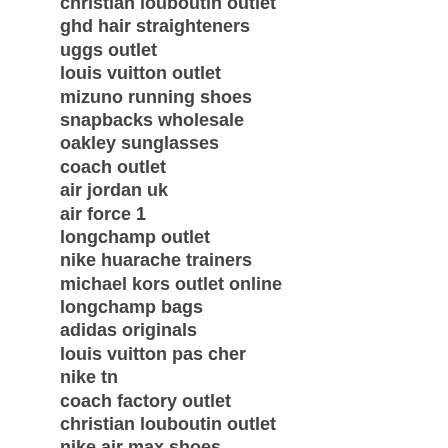christian louboutin outlet
ghd hair straighteners
uggs outlet
louis vuitton outlet
mizuno running shoes
snapbacks wholesale
oakley sunglasses
coach outlet
air jordan uk
air force 1
longchamp outlet
nike huarache trainers
michael kors outlet online
longchamp bags
adidas originals
louis vuitton pas cher
nike tn
coach factory outlet
christian louboutin outlet
nike air max shoes
coach outlet
cheap toms
coach outlet